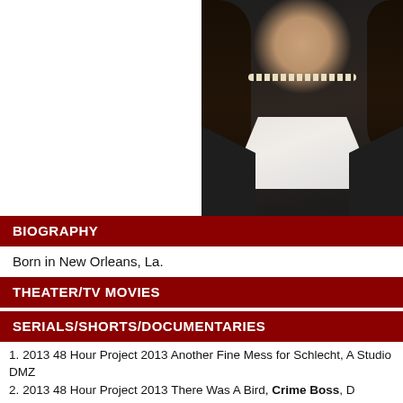[Figure (photo): Headshot photo of a woman with long dark hair, wearing a dark pinstripe blazer, white blouse, and pearl necklace. Photo is cropped to show head, neck and upper torso.]
BIOGRAPHY
Born in New Orleans, La.
THEATER/TV MOVIES
SERIALS/SHORTS/DOCUMENTARIES
2013 48 Hour Project 2013 Another Fine Mess for Schlecht, A Studio DMZ
2013 48 Hour Project 2013 There Was A Bird, Crime Boss, D
2013 My Choice is Clear-A Cross to Bear, Ms. Anderson, Sc Rouge